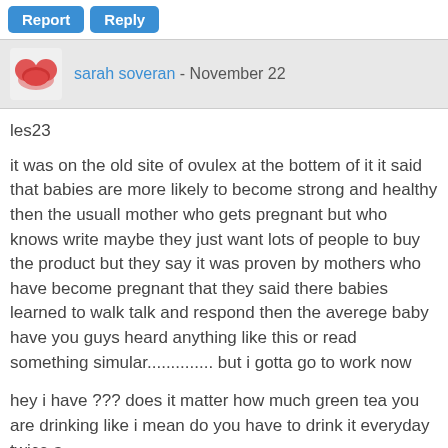[Figure (other): Report and Reply buttons at top of comment]
sarah soveran - November 22
les23
it was on the old site of ovulex at the bottem of it it said that babies are more likely to become strong and healthy then the usuall mother who gets pregnant but who knows write maybe they just want lots of people to buy the product but they say it was proven by mothers who have become pregnant that they said there babies learned to walk talk and respond then the averege baby have you guys heard anything like this or read something simular............. but i gotta go to work now
hey i have ??? does it matter how much green tea you are drinking like i mean do you have to drink it everyday twice a